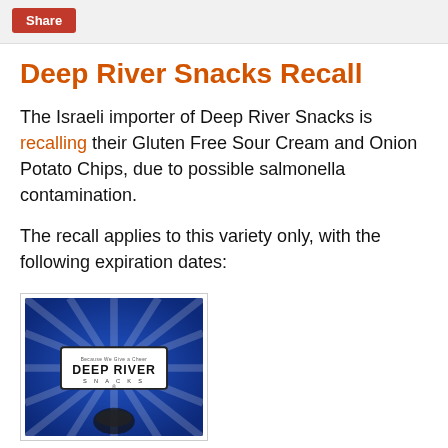Share
Deep River Snacks Recall
The Israeli importer of Deep River Snacks is recalling their Gluten Free Sour Cream and Onion Potato Chips, due to possible salmonella contamination.
The recall applies to this variety only, with the following expiration dates:
[Figure (photo): Photo of a blue bag of Deep River Snacks showing the brand logo and name on a white label against a blue background with rays emanating from behind.]